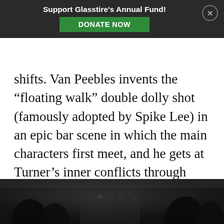Support Glasstire's Annual Fund! DONATE NOW
shifts. Van Peebles invents the “floating walk” double dolly shot (famously adopted by Spike Lee) in an epic bar scene in which the main characters first meet, and he gets at Turner’s inner conflicts through composited mirror interactions between the character and his own nagging subconscious. In addition to writing and directing, Van Peebles also created the music for the film with a fellow expat, jazz guitarist Mickey Baker.
[Figure (photo): Black and white photo of people in a bar scene, dimly lit interior with figures visible in the foreground and background]